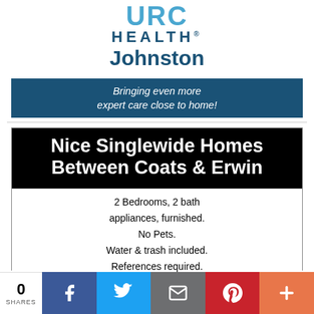[Figure (logo): URC Health Johnston logo with blue text]
Bringing even more expert care close to home!
Nice Singlewide Homes Between Coats & Erwin
2 Bedrooms, 2 bath appliances, furnished. No Pets. Water & trash included. References required.
Call 910-892-0641